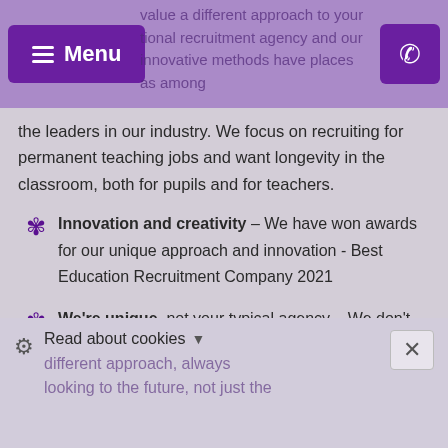Menu
value a different approach to your tional recruitment agency and our innovative methods have places as among the leaders in our industry. We focus on recruiting for permanent teaching jobs and want longevity in the classroom, both for pupils and for teachers.
Innovation and creativity – We have won awards for our unique approach and innovation - Best Education Recruitment Company 2021
We're unique, not your typical agency – We don't offer temp work. When you get a job through us, it's for the long term.
Read about cookies
different approach, always looking to the future, not just the